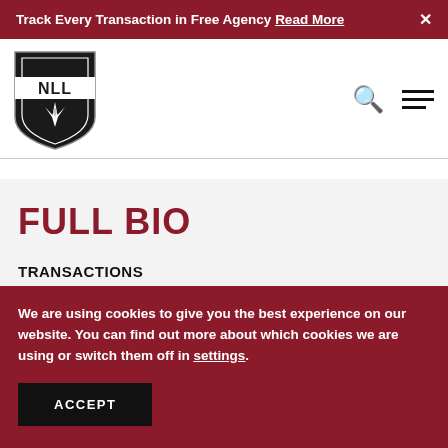Track Every Transaction in Free Agency Read More ×
[Figure (logo): NLL shield logo with star/compass design in black and white]
FULL BIO
TRANSACTIONS
Selected third overall by the Mammoth in the 2013
We are using cookies to give you the best experience on our website. You can find out more about which cookies we are using or switch them off in settings.